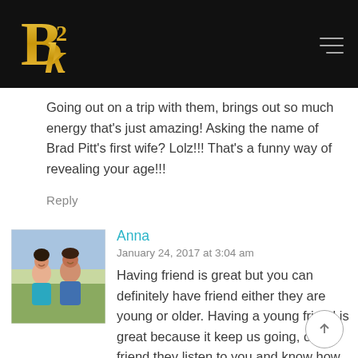[Figure (logo): B2K gold logo on black header bar]
Going out on a trip with them, brings out so much energy that's just amazing! Asking the name of Brad Pitt's first wife? Lolz!!! That's a funny way of revealing your age!!!
Reply
[Figure (photo): Avatar photo of Anna: a couple sitting together outdoors]
Anna
January 24, 2017 at 3:04 am
Having friend is great but you can definitely have friend either they are young or older. Having a young friend is great because it keep us going, older friend they listen to you and know how you feel when things goes